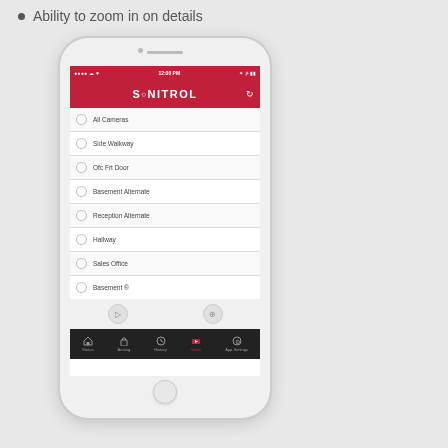Ability to zoom in on details
[Figure (screenshot): Screenshot of the Sonitrol mobile app on an iPhone, showing a list of camera locations: All Cameras, Side Walkway, Ofc Frt Door, Basement Alternate, Reception Alternate, Hallway, Sales Office, Basement (partial). The app has a red header with the Sonitrol logo, a bottom navigation bar with Status, Arming, History, Video (active, in red), and App Settings tabs.]